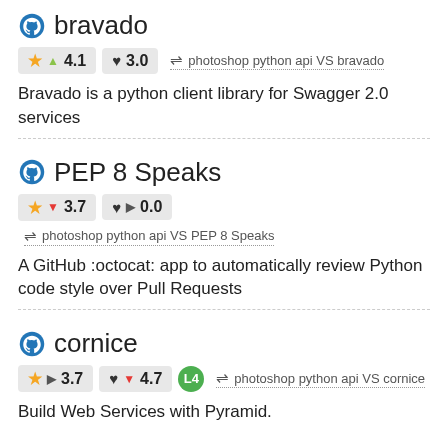bravado
★ ▲ 4.1   ♥ 3.0   ⇌ photoshop python api VS bravado
Bravado is a python client library for Swagger 2.0 services
PEP 8 Speaks
★ ▼ 3.7   ♥ ▶ 0.0   ⇌ photoshop python api VS PEP 8 Speaks
A GitHub :octocat: app to automatically review Python code style over Pull Requests
cornice
★ ▶ 3.7   ♥ ▼ 4.7   L4   ⇌ photoshop python api VS cornice
Build Web Services with Pyramid.